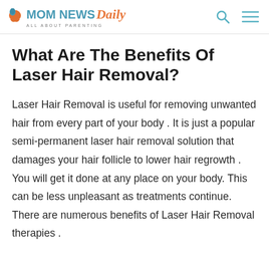MOM NEWS Daily — ALL ABOUT PARENTING
What Are The Benefits Of Laser Hair Removal?
Laser Hair Removal is useful for removing unwanted hair from every part of your body . It is just a popular semi-permanent laser hair removal solution that damages your hair follicle to lower hair regrowth . You will get it done at any place on your body. This can be less unpleasant as treatments continue. There are numerous benefits of Laser Hair Removal therapies .